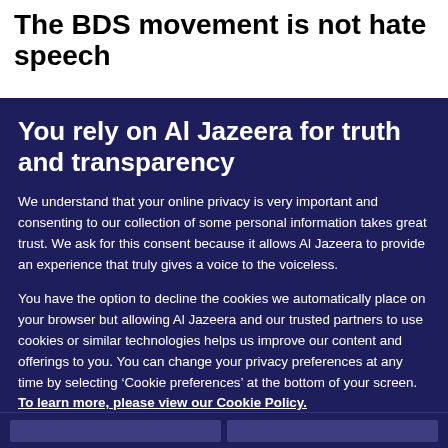The BDS movement is not hate speech
You rely on Al Jazeera for truth and transparency
We understand that your online privacy is very important and consenting to our collection of some personal information takes great trust. We ask for this consent because it allows Al Jazeera to provide an experience that truly gives a voice to the voiceless.
You have the option to decline the cookies we automatically place on your browser but allowing Al Jazeera and our trusted partners to use cookies or similar technologies helps us improve our content and offerings to you. You can change your privacy preferences at any time by selecting ‘Cookie preferences’ at the bottom of your screen. To learn more, please view our Cookie Policy.